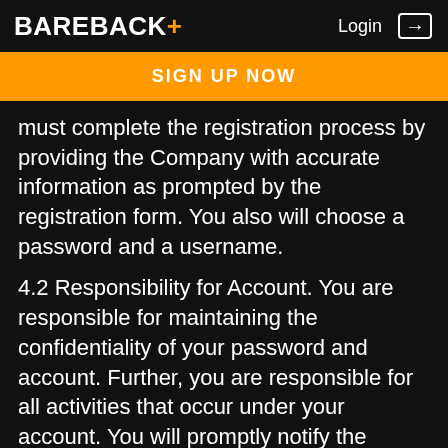BAREBACK+ Login →
SIGN UP NOW
must complete the registration process by providing the Company with accurate information as prompted by the registration form. You also will choose a password and a username.
4.2 Responsibility for Account. You are responsible for maintaining the confidentiality of your password and account. Further, you are responsible for all activities that occur under your account. You will promptly notify the Company of any unauthorized use of your account or any other breach of security.